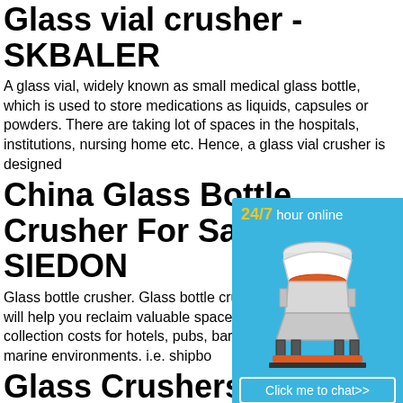Glass vial crusher - SKBALER
A glass vial, widely known as small medical glass bottle, which is used to store medications as liquids, capsules or powders. There are taking lot of spaces in the hospitals, institutions, nursing home etc. Hence, a glass vial crusher is designed
China Glass Bottle Crusher For Sale - SIEDON
Glass bottle crusher. Glass bottle crushing Siedon will help you reclaim valuable space waste collection costs for hotels, pubs, bars as well as marine environments. i.e. shipbo
[Figure (infographic): Chat widget with 24/7 hour online label in blue background, image of a cone crusher machine, Click me to chat>> button, Enquiry section, and limingjlmofen username]
Glass Crushers - Waste
This Glass Crusher is ideal for handling up bottles per week. Quickly crushes glass bo in a safe and controlled manner. The crush into recommended bin sizes of 37 Gallons
Glass Bottle Crusher To